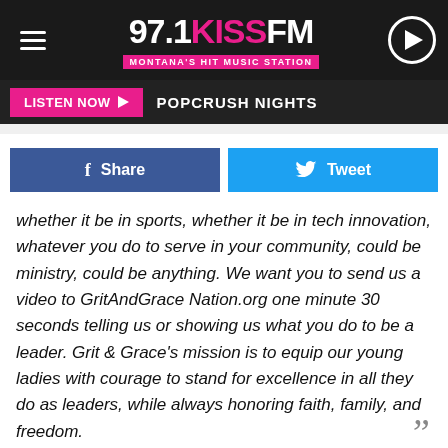97.1 KISS FM - MONTANA'S HIT MUSIC STATION
LISTEN NOW | POPCRUSH NIGHTS
[Figure (other): Facebook Share button and Twitter Tweet button side by side]
whether it be in sports, whether it be in tech innovation, whatever you do to serve in your community, could be ministry, could be anything. We want you to send us a video to GritAndGrace Nation.org one minute 30 seconds telling us or showing us what you do to be a leader. Grit & Grace's mission is to equip our young ladies with courage to stand for excellence in all they do as leaders, while always honoring faith, family, and freedom.